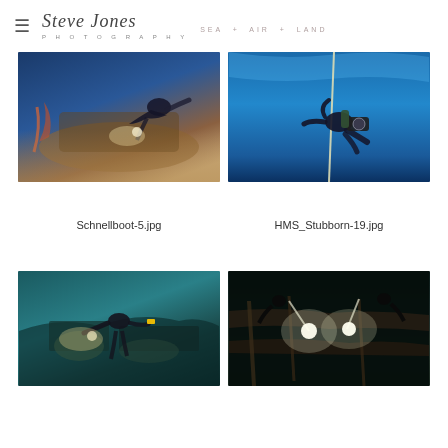Steve Jones Photography — SEA + AIR + LAND
[Figure (photo): Underwater photo of a scuba diver with a torch light examining a shipwreck, blue and brown tones]
Schnellboot-5.jpg
[Figure (photo): Scuba diver in clear blue water holding a camera rig, ascending near a rope]
HMS_Stubborn-19.jpg
[Figure (photo): Diver exploring a shipwreck in murky teal water with a torch]
[Figure (photo): Shipwreck interior in dark water illuminated by two bright lights]